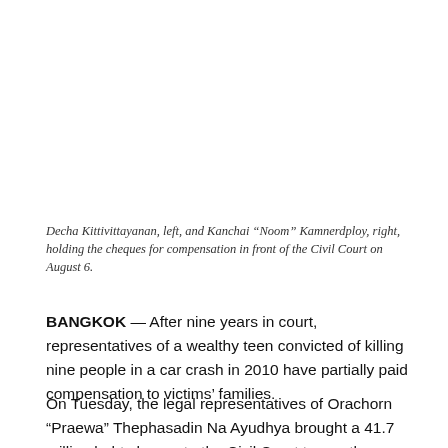Decha Kittivittayanan, left, and Kanchai “Noom” Kamnerdploy, right, holding the cheques for compensation in front of the Civil Court on August 6.
BANGKOK — After nine years in court, representatives of a wealthy teen convicted of killing nine people in a car crash in 2010 have partially paid compensation to victims’ families.
On Tuesday, the legal representatives of Orachorn “Praewa” Thephasadin Na Ayudhya brought a 41.7 million baht cheque to the Civil Court to pay the compensation owed to the victims of a car crash in which Praewa drove into the back of a university van.